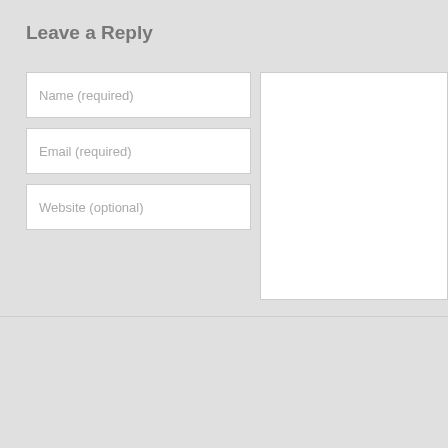Leave a Reply
Name (required)
Email (required)
Website (optional)
Submit Comment